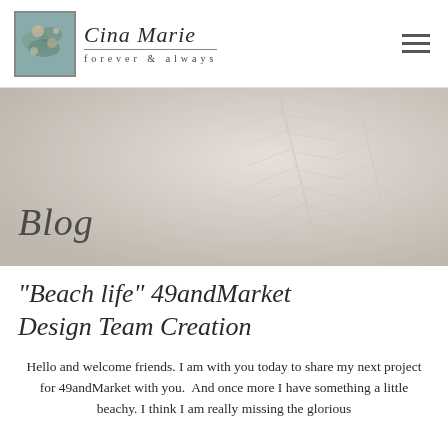Cina Marie — forever & always
[Figure (photo): Hero banner showing a soft-focus close-up of pine or fern branches in pale cream and grey tones, with the word 'Blog' overlaid in large italic serif font.]
“Beach life” 49andMarket Design Team Creation
Hello and welcome friends. I am with you today to share my next project for 49andMarket with you.  And once more I have something a little beachy. I think I am really missing the glorious